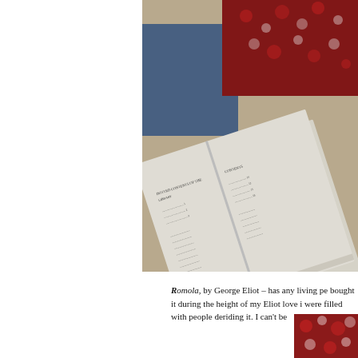[Figure (photo): A photograph of an open book with printed text, resting on a patterned red and white fabric surface, partially overlapping a blue surface. The book pages show columnar text, photographed at an angle.]
Romola, by George Eliot – has any living pe bought it during the height of my Eliot love i were filled with people deriding it. I can't be
[Figure (photo): Partial view of a patterned red and white fabric/carpet in the bottom right corner.]